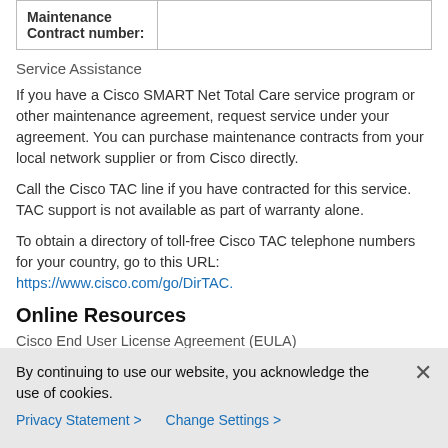| Maintenance Contract number: |  |
| --- | --- |
| Maintenance Contract number: |  |
Service Assistance
If you have a Cisco SMART Net Total Care service program or other maintenance agreement, request service under your agreement. You can purchase maintenance contracts from your local network supplier or from Cisco directly.
Call the Cisco TAC line if you have contracted for this service. TAC support is not available as part of warranty alone.
To obtain a directory of toll-free Cisco TAC telephone numbers for your country, go to this URL: https://www.cisco.com/go/DirTAC.
Online Resources
Cisco End User License Agreement (EULA)
By continuing to use our website, you acknowledge the use of cookies.
Privacy Statement > Change Settings >